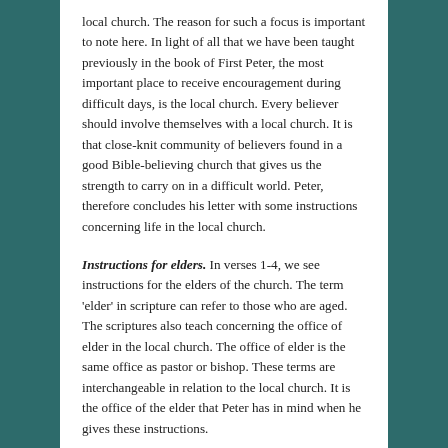local church. The reason for such a focus is important to note here. In light of all that we have been taught previously in the book of First Peter, the most important place to receive encouragement during difficult days, is the local church. Every believer should involve themselves with a local church. It is that close-knit community of believers found in a good Bible-believing church that gives us the strength to carry on in a difficult world. Peter, therefore concludes his letter with some instructions concerning life in the local church.
Instructions for elders. In verses 1-4, we see instructions for the elders of the church. The term 'elder' in scripture can refer to those who are aged. The scriptures also teach concerning the office of elder in the local church. The office of elder is the same office as pastor or bishop. These terms are interchangeable in relation to the local church. It is the office of the elder that Peter has in mind when he gives these instructions.
The first instruction given to the elders is to feed the